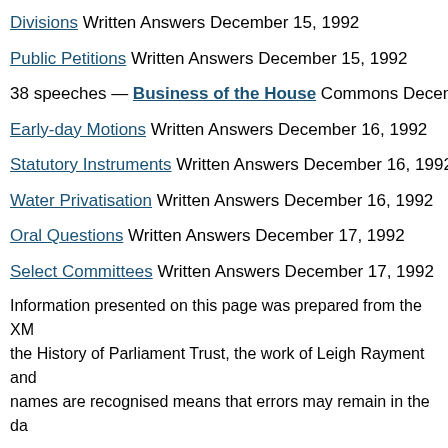Divisions Written Answers December 15, 1992
Public Petitions Written Answers December 15, 1992
38 speeches — Business of the House Commons December
Early-day Motions Written Answers December 16, 1992
Statutory Instruments Written Answers December 16, 1992
Water Privatisation Written Answers December 16, 1992
Oral Questions Written Answers December 17, 1992
Select Committees Written Answers December 17, 1992
Information presented on this page was prepared from the XM the History of Parliament Trust, the work of Leigh Rayment and names are recognised means that errors may remain in the da
Noticed a typo? | Report other issues | © UK Parliament